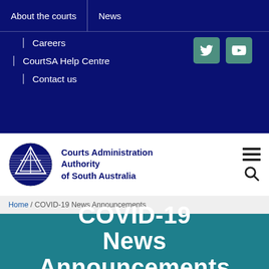About the courts | News
Careers
CourtSA Help Centre
Contact us
[Figure (logo): Courts Administration Authority of South Australia circular logo with scales of justice and horizontal lines]
Courts Administration Authority of South Australia
Home / COVID-19 News Announcements
COVID-19 News Announcements